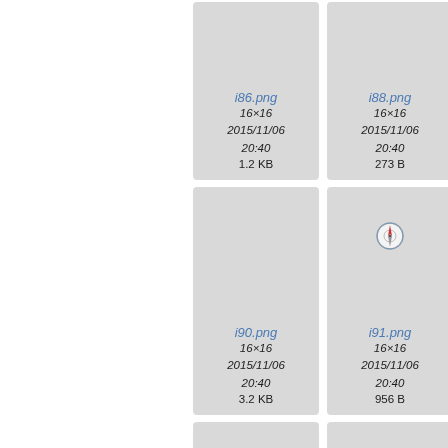[Figure (screenshot): File browser grid view showing image files i86.png, i88.png, i90.png, i91.png with metadata]
i86.png
16×16
2015/11/06
20:40
1.2 KB
i88.png
16×16
2015/11/06
20:40
273 B
i90.png
16×16
2015/11/06
20:40
3.2 KB
i91.png
16×16
2015/11/06
20:40
956 B